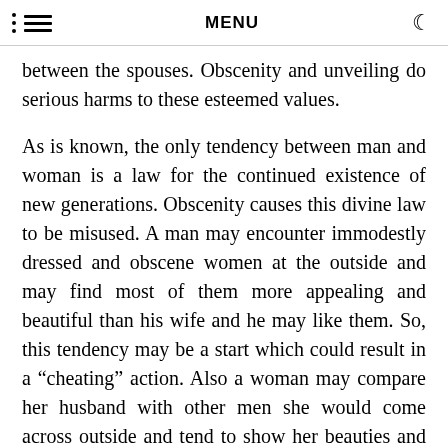MENU
between the spouses. Obscenity and unveiling do serious harms to these esteemed values.
As is known, the only tendency between man and woman is a law for the continued existence of new generations. Obscenity causes this divine law to be misused. A man may encounter immodestly dressed and obscene women at the outside and may find most of them more appealing and beautiful than his wife and he may like them. So, this tendency may be a start which could result in a “cheating” action. Also a woman may compare her husband with other men she would come across outside and tend to show her beauties and attract those she found